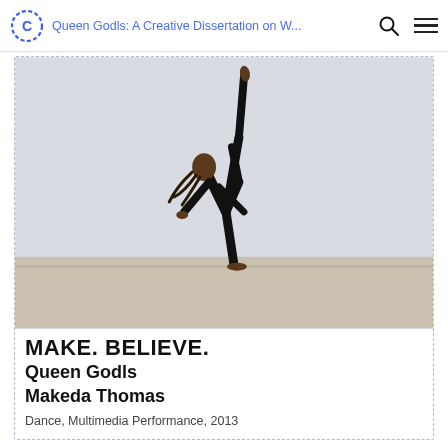Queen Godls: A Creative Dissertation on W...
[Figure (photo): A dancer dressed in all black performing an acrobatic one-handed balance pose with one leg extended straight up and the other bent, with dreadlocks flowing, on a light wooden floor against a white background.]
MAKE. BELIEVE.
Queen Godls
Makeda Thomas
Dance, Multimedia Performance, 2013